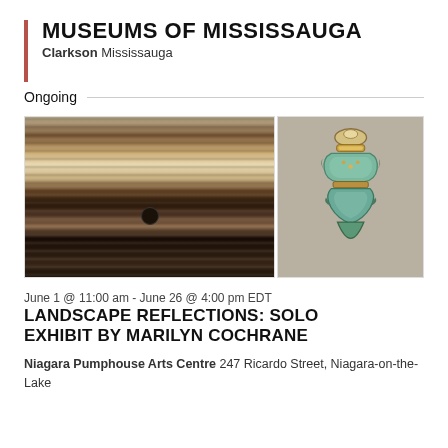MUSEUMS OF MISSISSAUGA
Clarkson Mississauga
Ongoing
[Figure (photo): Two images side by side: left shows a dark landscape painting with horizontal striations and a small dark oval shape; right shows a decorative artifact resembling an arrowhead with turquoise and gold tones.]
June 1 @ 11:00 am - June 26 @ 4:00 pm EDT
LANDSCAPE REFLECTIONS: SOLO EXHIBIT BY MARILYN COCHRANE
Niagara Pumphouse Arts Centre 247 Ricardo Street, Niagara-on-the-Lake